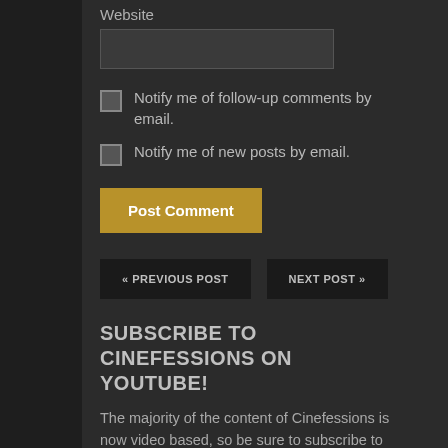Website
Notify me of follow-up comments by email.
Notify me of new posts by email.
Post Comment
« PREVIOUS POST
NEXT POST »
SUBSCRIBE TO CINEFESSIONS ON YOUTUBE!
The majority of the content of Cinefessions is now video based, so be sure to subscribe to channel on YouTube, and click that bell